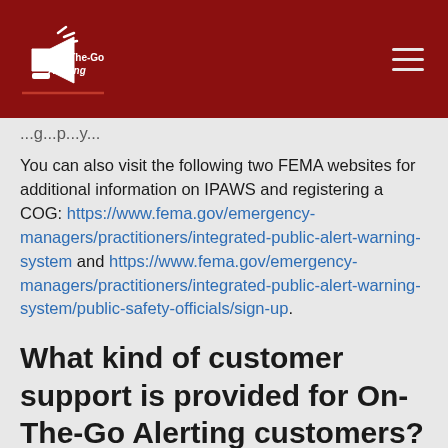On-The-Go Alerting
You can also visit the following two FEMA websites for additional information on IPAWS and registering a COG: https://www.fema.gov/emergency-managers/practitioners/integrated-public-alert-warning-system and https://www.fema.gov/emergency-managers/practitioners/integrated-public-alert-warning-system/public-safety-officials/sign-up.
What kind of customer support is provided for On-The-Go Alerting customers?
We provide email and phone support as well as